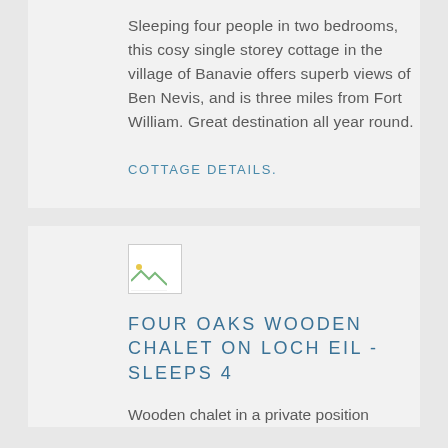Sleeping four people in two bedrooms, this cosy single storey cottage in the village of Banavie offers superb views of Ben Nevis, and is three miles from Fort William. Great destination all year round.
COTTAGE DETAILS.
[Figure (photo): Broken/missing image placeholder thumbnail]
FOUR OAKS WOODEN CHALET ON LOCH EIL - SLEEPS 4
Wooden chalet in a private position